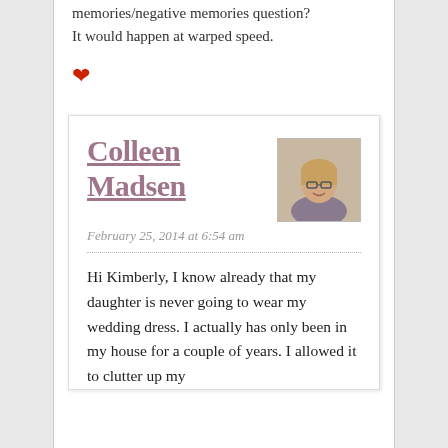memories/negative memories question? It would happen at warped speed.
♥
Colleen Madsen
February 25, 2014 at 6:54 am
Hi Kimberly, I know already that my daughter is never going to wear my wedding dress. I actually has only been in my house for a couple of years. I allowed it to clutter up my